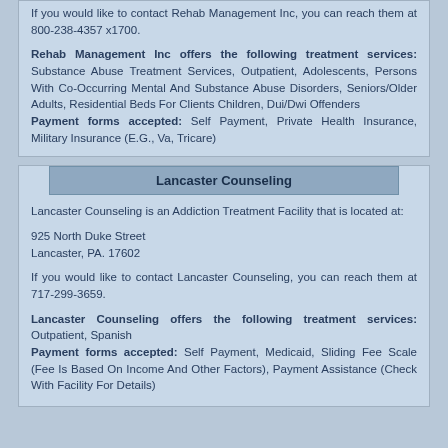If you would like to contact Rehab Management Inc, you can reach them at 800-238-4357 x1700.
Rehab Management Inc offers the following treatment services: Substance Abuse Treatment Services, Outpatient, Adolescents, Persons With Co-Occurring Mental And Substance Abuse Disorders, Seniors/Older Adults, Residential Beds For Clients Children, Dui/Dwi Offenders
Payment forms accepted: Self Payment, Private Health Insurance, Military Insurance (E.G., Va, Tricare)
Lancaster Counseling
Lancaster Counseling is an Addiction Treatment Facility that is located at:
925 North Duke Street
Lancaster, PA. 17602
If you would like to contact Lancaster Counseling, you can reach them at 717-299-3659.
Lancaster Counseling offers the following treatment services: Outpatient, Spanish
Payment forms accepted: Self Payment, Medicaid, Sliding Fee Scale (Fee Is Based On Income And Other Factors), Payment Assistance (Check With Facility For Details)